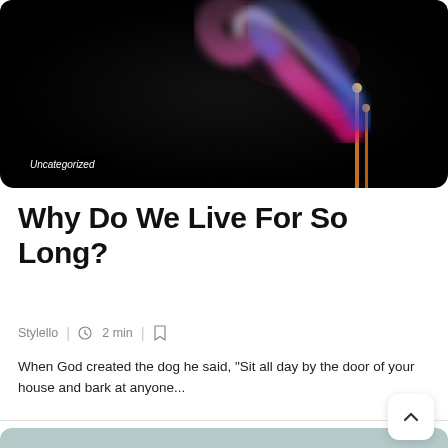[Figure (photo): Dark background photo of colorful smoke (pink and blue/purple swirls) rising from incense sticks with glowing tips. A rounded rectangle crop. 'Uncategorized' badge overlaid at bottom left.]
Why Do We Live For So Long?
Stylello | 2 min |
When God created the dog he said, "Sit all day by the door of your house and bark at anyone...